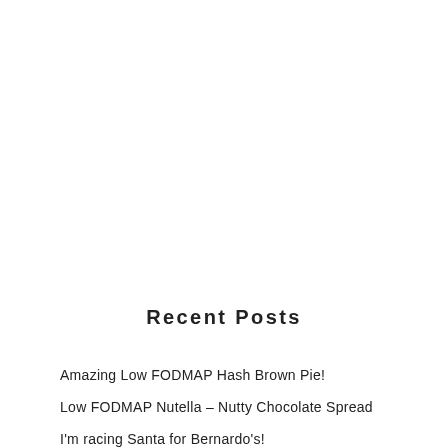Recent Posts
Amazing Low FODMAP Hash Brown Pie!
Low FODMAP Nutella – Nutty Chocolate Spread
I'm racing Santa for Bernardo's!